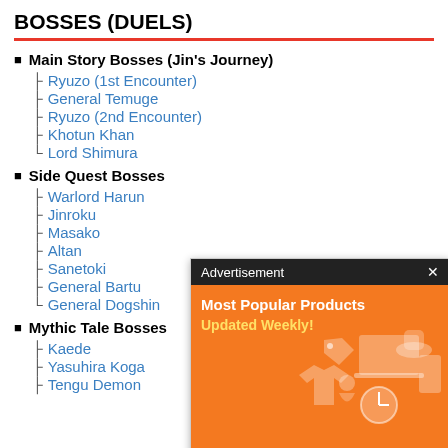BOSSES (DUELS)
Main Story Bosses (Jin's Journey)
Ryuzo (1st Encounter)
General Temuge
Ryuzo (2nd Encounter)
Khotun Khan
Lord Shimura
Side Quest Bosses
Warlord Harun
Jinroku
Masako
Altan
Sanetoki
General Bartu
General Dogshin
Mythic Tale Bosses
Kaede
Yasuhira Koga
Tengu Demon
[Figure (screenshot): Advertisement overlay with orange background showing 'Most Popular Products Updated Weekly!' text with product icons]